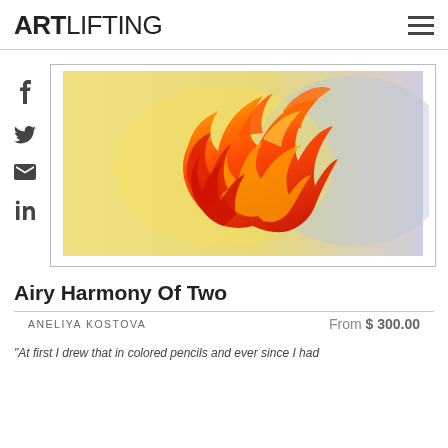ARTLIFTING
[Figure (illustration): Painting of a flame-like swirling form in red, orange, and yellow colors against a gradient yellow-to-light-blue background. The artwork is titled 'Airy Harmony Of Two' by Aneliya Kostova.]
Airy Harmony Of Two
ANELIYA KOSTOVA
From $ 300.00
"At first I drew that in colored pencils and ever since I had